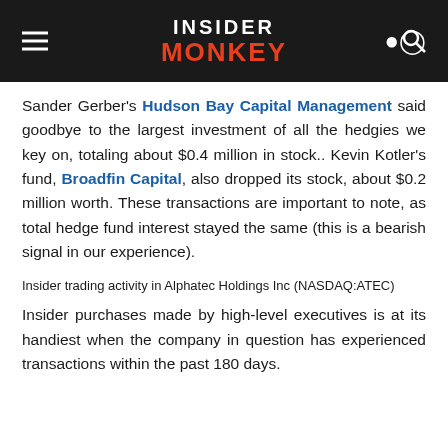INSIDER MONKEY
Sander Gerber's Hudson Bay Capital Management said goodbye to the largest investment of all the hedgies we key on, totaling about $0.4 million in stock.. Kevin Kotler's fund, Broadfin Capital, also dropped its stock, about $0.2 million worth. These transactions are important to note, as total hedge fund interest stayed the same (this is a bearish signal in our experience).
Insider trading activity in Alphatec Holdings Inc (NASDAQ:ATEC)
Insider purchases made by high-level executives is at its handiest when the company in question has experienced transactions within the past 180 days.